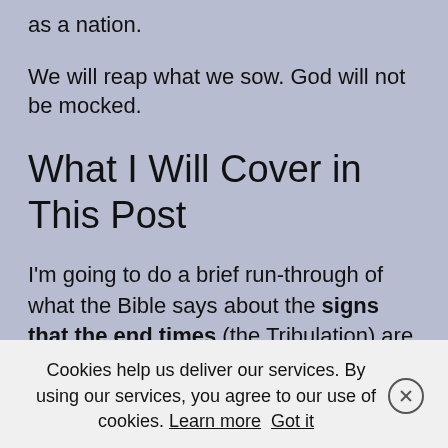as a nation.
We will reap what we sow. God will not be mocked.
What I Will Cover in This Post
I'm going to do a brief run-through of what the Bible says about the signs that the end times (the Tribulation) are drawing near and then look at the end times timeline.
Let's be open to what God wants us to know and may He empower us to handle His word rightly. But please make keyword for
Cookies help us deliver our services. By using our services, you agree to our use of cookies. Learn more  Got it